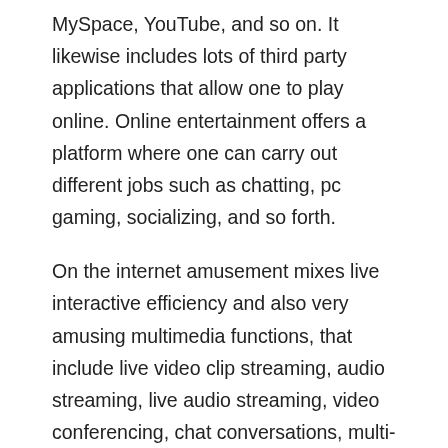MySpace, YouTube, and so on. It likewise includes lots of third party applications that allow one to play online. Online entertainment offers a platform where one can carry out different jobs such as chatting, pc gaming, socializing, and so forth.
On the internet amusement mixes live interactive efficiency and also very amusing multimedia functions, that include live video clip streaming, audio streaming, live audio streaming, video conferencing, chat conversations, multi-user game efficiency, music and videos streaming. The purpose of using online entertainment is to maintain the customer busy in a setting where he or she is entertained in the very best possible means. The forms of enjoyment on the net include text messaging, voice and also video games, music, images and more. These solutions are